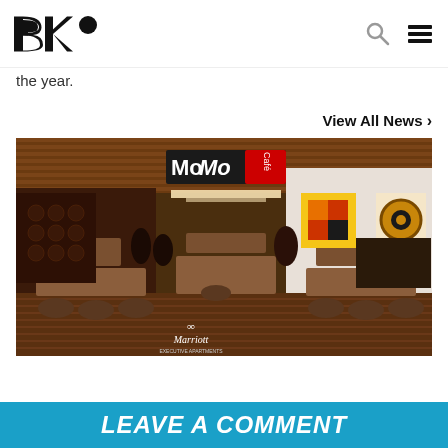BK° [logo with search and menu icons]
the year.
View All News ›
[Figure (photo): Interior of MoMo Café restaurant at Marriott Executive Apartments Bangkok, showing dining tables with chairs, wooden ceiling and warm lighting]
LEAVE A COMMENT